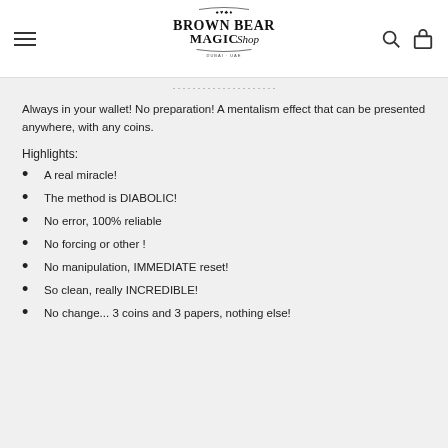Brown Bear Magic Shop
Always in your wallet! No preparation! A mentalism effect that can be presented anywhere, with any coins.
Highlights:
A real miracle!
The method is DIABOLIC!
No error, 100% reliable
No forcing or other !
No manipulation, IMMEDIATE reset!
So clean, really INCREDIBLE!
No change... 3 coins and 3 papers, nothing else!